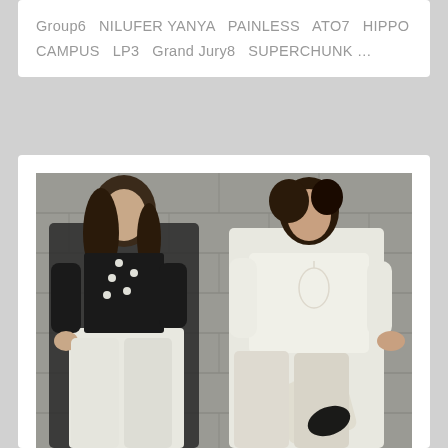Group6  NILUFER YANYA  PAINLESS  ATO7  HIPPO CAMPUS  LP3  Grand Jury8  SUPERCHUNK …
[Figure (photo): Two people leaning against a cinder block wall. A woman on the left wears a black blouse with pearl buttons and white jeans. A man on the right wears a white sweatshirt and cream pants with one leg bent up against the wall.]